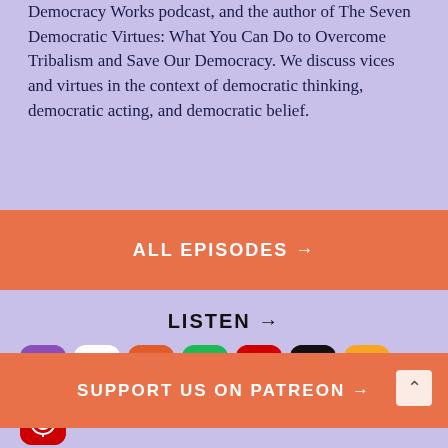Democracy Works podcast, and the author of The Seven Democratic Virtues: What You Can Do to Overcome Tribalism and Save Our Democracy. We discuss vices and virtues in the context of democratic thinking, democratic acting, and democratic belief.
ALL EPISODES →
LISTEN →
[Figure (logo): Row of podcast platform icons: Apple Podcasts, Google Podcasts, Castbox, Spotify, Pocket Casts, Stitcher, Overcast, and Pocket Casts (red circular icon)]
SUPPORT US ON PATREON →